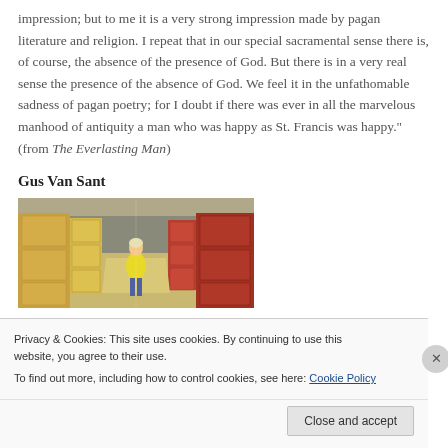impression; but to me it is a very strong impression made by pagan literature and religion. I repeat that in our special sacramental sense there is, of course, the absence of the presence of God. But there is in a very real sense the presence of the absence of God. We feel it in the unfathomable sadness of pagan poetry; for I doubt if there was ever in all the marvelous manhood of antiquity a man who was happy as St. Francis was happy." (from The Everlasting Man)
Gus Van Sant
[Figure (photo): A school hallway with lockers on both sides and a student with blonde hair wearing a yellow shirt walking away from the camera.]
Privacy & Cookies: This site uses cookies. By continuing to use this website, you agree to their use.
To find out more, including how to control cookies, see here: Cookie Policy